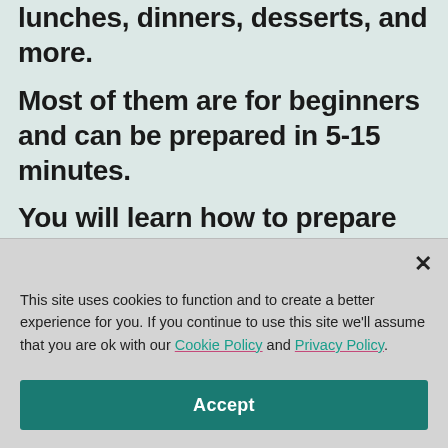lunches, dinners, desserts, and more.
Most of them are for beginners and can be prepared in 5-15 minutes.
You will learn how to prepare them not only from the text but also from videos and photos.
This site uses cookies to function and to create a better experience for you. If you continue to use this site we'll assume that you are ok with our Cookie Policy and Privacy Policy.
Accept